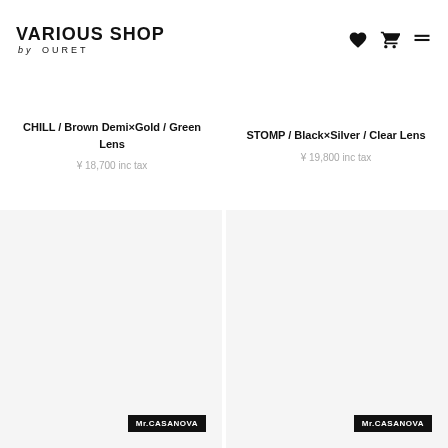VARIOUS SHOP by OURET
CHILL / Brown Demi×Gold / Green Lens
¥ 18,700 inc tax
STOMP / Black×Silver / Clear Lens
¥ 19,800 inc tax
[Figure (photo): Product image placeholder – light grey background, left panel, with Mr.CASANOVA brand tag]
[Figure (photo): Product image placeholder – light grey background, right panel, with Mr.CASANOVA brand tag]